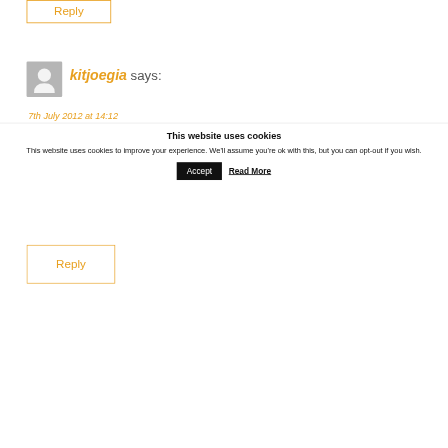Reply
kitjoegia says:
7th July 2012 at 14:12
Sheer brilliance in this post.I rely on your blog and many others to give great advice on products and not magazines!
Reply
This website uses cookies
This website uses cookies to improve your experience. We'll assume you're ok with this, but you can opt-out if you wish.
Accept
Read More